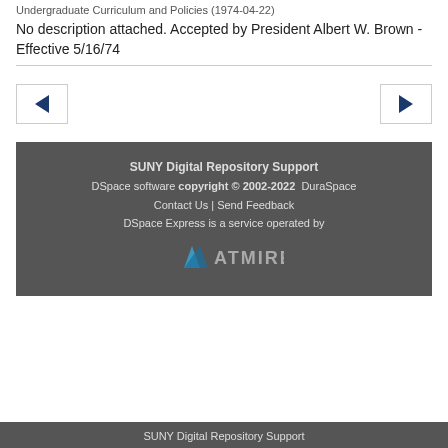Undergraduate Curriculum and Policies (1974-04-22)
No description attached. Accepted by President Albert W. Brown - Effective 5/16/74
[Figure (other): Navigation buttons: left arrow (back) and right arrow (forward)]
SUNY Digital Repository Support
DSpace software copyright © 2002-2022 DuraSpace
Contact Us | Send Feedback
DSpace Express is a service operated by
ATMIRE
SUNY Digital Repository Support